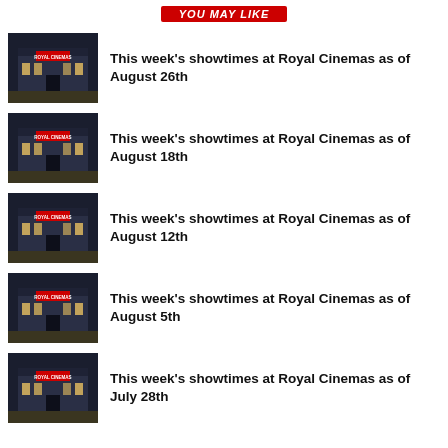YOU MAY LIKE
This week's showtimes at Royal Cinemas as of August 26th
This week's showtimes at Royal Cinemas as of August 18th
This week's showtimes at Royal Cinemas as of August 12th
This week's showtimes at Royal Cinemas as of August 5th
This week's showtimes at Royal Cinemas as of July 28th